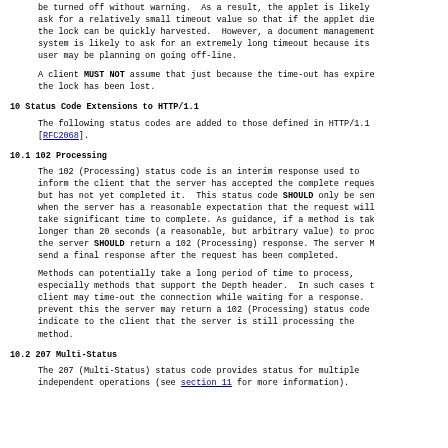be turned off without warning.  As a result, the applet is likely ask for a relatively small timeout value so that if the applet die the lock can be quickly harvested.  However, a document management system is likely to ask for an extremely long timeout because its user may be planning on going off-line.
A client MUST NOT assume that just because the time-out has expire the lock has been lost.
10 Status Code Extensions to HTTP/1.1
The following status codes are added to those defined in HTTP/1.1 [RFC2068].
10.1 102 Processing
The 102 (Processing) status code is an interim response used to inform the client that the server has accepted the complete reques but has not yet completed it.  This status code SHOULD only be sen when the server has a reasonable expectation that the request will take significant time to complete. As guidance, if a method is tak longer than 20 seconds (a reasonable, but arbitrary value) to proc the server SHOULD return a 102 (Processing) response. The server M send a final response after the request has been completed.
Methods can potentially take a long period of time to process, especially methods that support the Depth header.  In such cases t client may time-out the connection while waiting for a response. prevent this the server may return a 102 (Processing) status code indicate to the client that the server is still processing the method.
10.2 207 Multi-Status
The 207 (Multi-Status) status code provides status for multiple independent operations (see section 11 for more information).